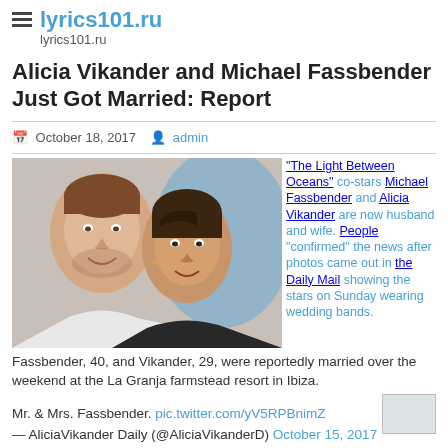lyrics101.ru
lyrics101.ru
Alicia Vikander and Michael Fassbender Just Got Married: Report
October 18, 2017  admin
[Figure (photo): Photo of Michael Fassbender and Alicia Vikander smiling together in front of a blue backdrop]
"The Light Between Oceans" co-stars Michael Fassbender and Alicia Vikander are now husband and wife. People "confirmed" the news after photos came out in the Daily Mail showing the stars on Sunday wearing wedding bands.
Fassbender, 40, and Vikander, 29, were reportedly married over the weekend at the La Granja farmstead resort in Ibiza.
Mr. & Mrs. Fassbender. pic.twitter.com/yV5RPBnimZ
— AliciaVikander Daily (@AliciaVikanderD) October 15, 2017